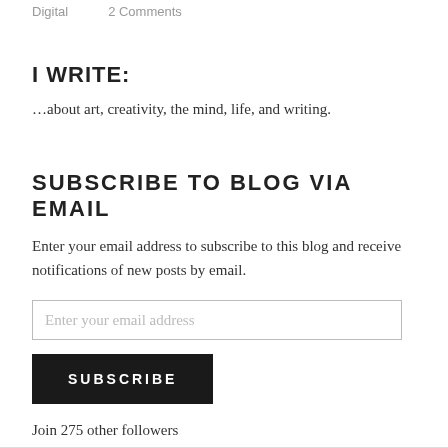Digital    2 Comments
I WRITE:
…about art, creativity, the mind, life, and writing.
SUBSCRIBE TO BLOG VIA EMAIL
Enter your email address to subscribe to this blog and receive notifications of new posts by email.
Enter your email address
SUBSCRIBE
Join 275 other followers